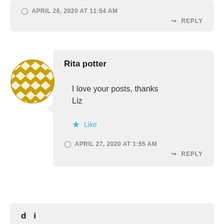APRIL 26, 2020 AT 11:54 AM
REPLY
[Figure (illustration): Round avatar with golden diamond/checker pattern]
Rita potter
I love your posts, thanks Liz
Like
APRIL 27, 2020 AT 1:55 AM
REPLY
d...i...